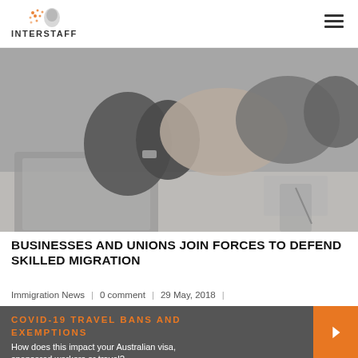INTERSTAFF
[Figure (photo): Black and white photo of two people shaking hands across a desk with a laptop and papers visible in the background]
BUSINESSES AND UNIONS JOIN FORCES TO DEFEND SKILLED MIGRATION
Immigration News | 0 comment | 29 May, 2018 |
COVID-19 TRAVEL BANS AND EXEMPTIONS
How does this impact your Australian visa, sponsored workers or travel?